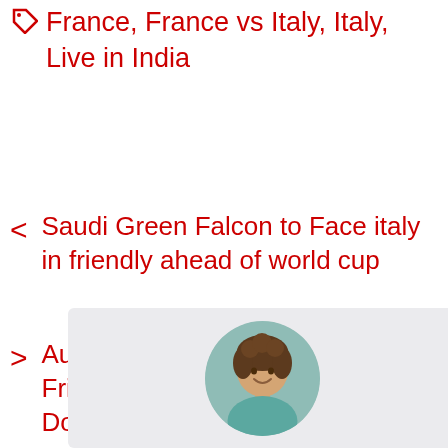France, France vs Italy, Italy, Live in India
< Saudi Green Falcon to Face italy in friendly ahead of world cup
> Australia vs Czech Republic Friendly Match Wallpaper Download free
[Figure (photo): Circular portrait photo of a woman with curly brown hair, smiling, in a light blue/teal top, against a blurred background. Displayed inside a light gray rounded rectangle box.]